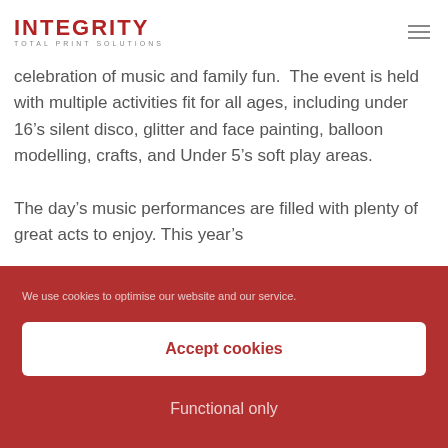INTEGRITY TOTAL PRINT SOLUTIONS
celebration of music and family fun.  The event is held with multiple activities fit for all ages, including under 16’s silent disco, glitter and face painting, balloon modelling, crafts, and Under 5’s soft play areas.

The day’s music performances are filled with plenty of great acts to enjoy. This year’s
We use cookies to optimise our website and our service.
Accept cookies
Functional only